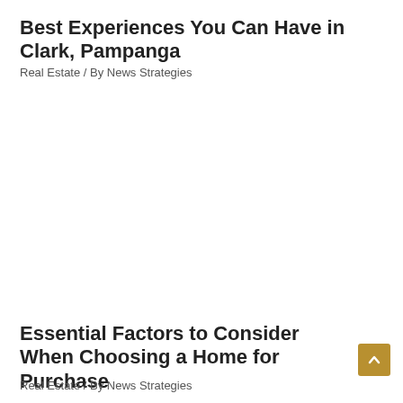Best Experiences You Can Have in Clark, Pampanga
Real Estate / By News Strategies
Essential Factors to Consider When Choosing a Home for Purchase
Real Estate / By News Strategies